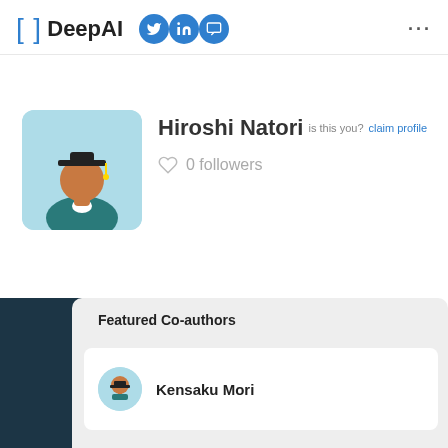[ ] DeepAI
Hiroshi Natori
is this you? claim profile
0 followers
Featured Co-authors
Kensaku Mori